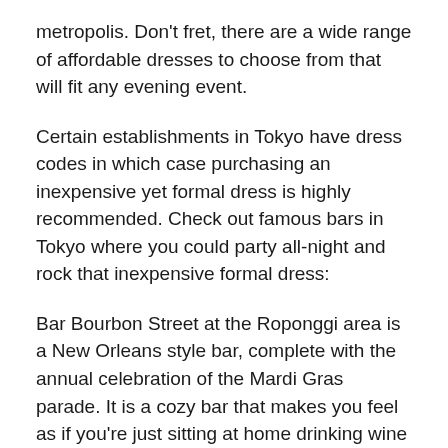metropolis. Don't fret, there are a wide range of affordable dresses to choose from that will fit any evening event.
Certain establishments in Tokyo have dress codes in which case purchasing an inexpensive yet formal dress is highly recommended. Check out famous bars in Tokyo where you could party all-night and rock that inexpensive formal dress:
Bar Bourbon Street at the Roponggi area is a New Orleans style bar, complete with the annual celebration of the Mardi Gras parade. It is a cozy bar that makes you feel as if you're just sitting at home drinking wine and eating bourbons. Music vary from jazz and blues.
Lexington Queen also at Roponggi area has been in business for over twenty five years already, and it definitely knows how to please its avid customers. It is just small and a little bit old-